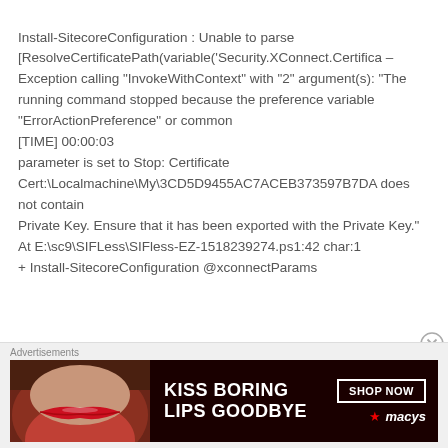Install-SitecoreConfiguration : Unable to parse [ResolveCertificatePath(variable('Security.XConnect.Certifica – Exception calling "InvokeWithContext" with "2" argument(s): "The running command stopped because the preference variable "ErrorActionPreference" or common [TIME] 00:00:03 parameter is set to Stop: Certificate Cert:\Localmachine\My\3CD5D9455AC7ACEB373597B7DA does not contain Private Key. Ensure that it has been exported with the Private Key." At E:\sc9\SIFLess\SIFless-EZ-1518239274.ps1:42 char:1 + Install-SitecoreConfiguration @xconnectParams
[Figure (other): Advertisement banner for Macy's with text 'KISS BORING LIPS GOODBYE' and 'SHOP NOW' button with Macy's star logo, featuring a woman's lips with red lipstick]